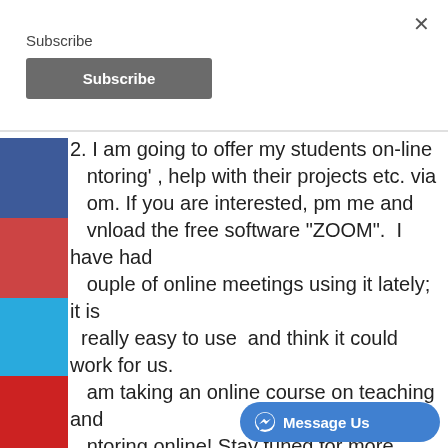×
Subscribe
Subscribe
2. I am going to offer my students on-line 'mentoring', help with their projects etc. via Zoom. If you are interested, pm me and download the free software "ZOOM". I have had a couple of online meetings using it lately; it is really easy to use and think it could work for us. I am taking an online course on teaching and mentoring online! Stay tuned for more professional offerings from me.....
[Figure (screenshot): Message Us button with Messenger icon]